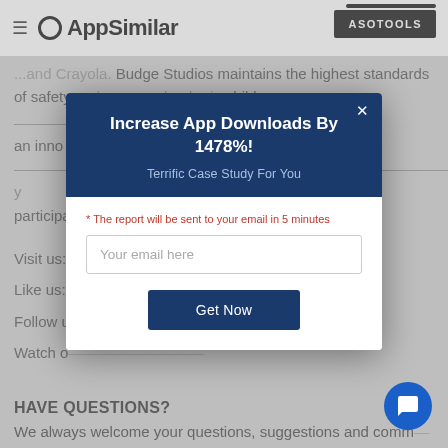AppSimilar — ASOTOOLS
...and Crayola. Budge Studios maintains the highest standards of safety a... leader in children... up™ is an inno... y participa...
Visit us:
Like us:
Follow u...
Watch o...
[Figure (screenshot): Modal popup dialog with dark blue header and white body. Header title: 'Increase App Downloads By 1478%!', subtitle: 'Terrific Case Study For You'. Body has note: 'The report will be sent to your email in 5 minutes', email input field, and 'Get Now' button. Close X button in top right of modal header.]
HAVE QUESTIONS?
We always welcome your questions, suggestions and comm...
Contact us 24/7 at support@budgestudios.ca